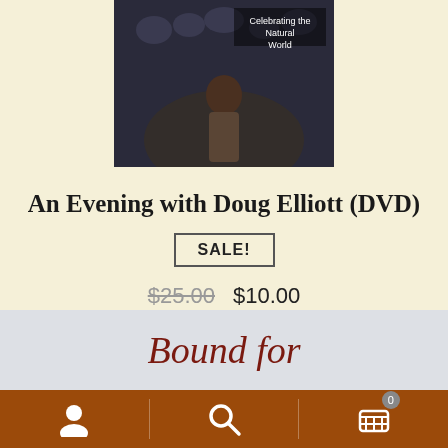[Figure (photo): Product image of DVD cover showing a performer on stage with text 'Celebrating the Natural World']
An Evening with Doug Elliott (DVD)
SALE!
$25.00  $10.00
Add to cart
Bound for
[Figure (screenshot): Bottom navigation bar with user icon, search icon, and cart icon with badge showing 0]